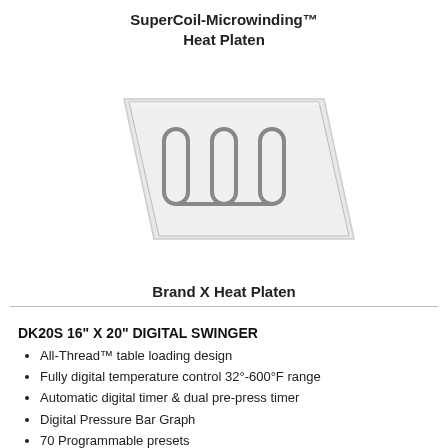SuperCoil-Microwinding™ Heat Platen
[Figure (photo): Photo of a heat platen product shown at an angle, featuring a flat rectangular metallic plate with raised coil/winding elements on its surface.]
Brand X Heat Platen
DK20S 16" X 20" DIGITAL SWINGER
All-Thread™ table loading design
Fully digital temperature control 32°-600°F range
Automatic digital timer & dual pre-press timer
Digital Pressure Bar Graph
70 Programmable presets
Solid steel welded framework
Auto-thinned, removable & easy to clean...